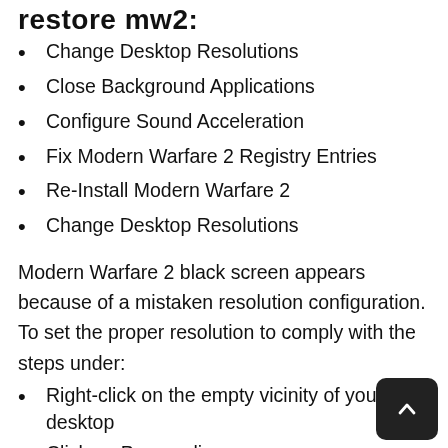restore mw2:
Change Desktop Resolutions
Close Background Applications
Configure Sound Acceleration
Fix Modern Warfare 2 Registry Entries
Re-Install Modern Warfare 2
Change Desktop Resolutions
Modern Warfare 2 black screen appears because of a mistaken resolution configuration. To set the proper resolution to comply with the steps under:
Right-click on the empty vicinity of your desktop
Click on Personalize
Click on Display Settings
Change resolutions to 1024X768
Set colorings to 32-bit High